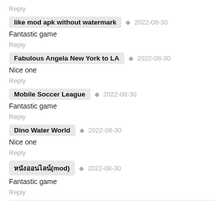Reply
like mod apk without watermark  ◆  2022-08-30
Fantastic game
Reply
Fabulous Angela New York to LA  ◆  2022-08-30
Nice one
Reply
Mobile Soccer League  ◆  2022-08-30
Fantastic game
Reply
Dino Water World  ◆  2022-08-30
Nice one
Reply
หนังออนไลน์(mod)  ◆  2022-08-30
Fantastic game
Reply